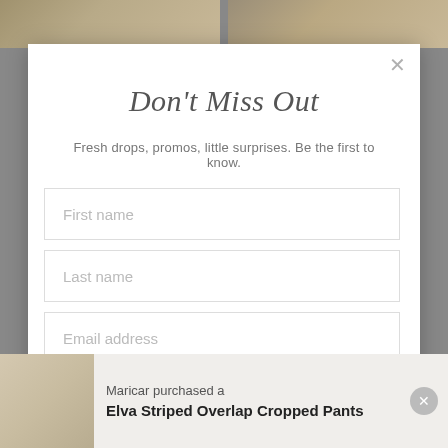[Figure (screenshot): Background photos of fashion models, partially visible behind modal]
Don't Miss Out
Fresh drops, promos, little surprises. Be the first to know.
First name
Last name
Email address
Maricar purchased a
Elva Striped Overlap Cropped Pants